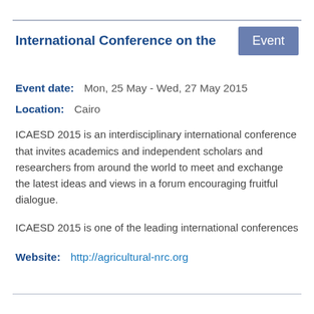International Conference on the
Event date:    Mon, 25 May - Wed, 27 May 2015
Location:    Cairo
ICAESD 2015 is an interdisciplinary international conference that invites academics and independent scholars and researchers from around the world to meet and exchange the latest ideas and views in a forum encouraging fruitful dialogue.
ICAESD 2015 is one of the leading international conferences
Website:    http://agricultural-nrc.org